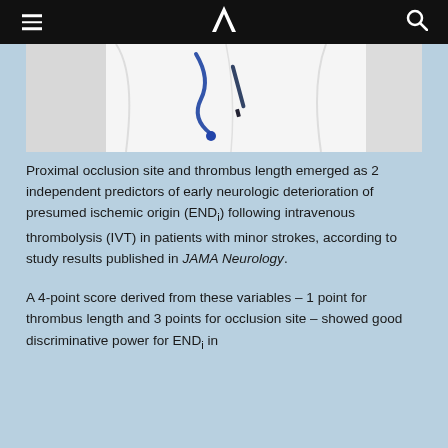≡  N  🔍
[Figure (photo): Partial view of a medical professional in a white coat, likely writing or holding a pen, with a stethoscope visible]
Proximal occlusion site and thrombus length emerged as 2 independent predictors of early neurologic deterioration of presumed ischemic origin (ENDi) following intravenous thrombolysis (IVT) in patients with minor strokes, according to study results published in JAMA Neurology.
A 4-point score derived from these variables – 1 point for thrombus length and 3 points for occlusion site – showed good discriminative power for ENDi in